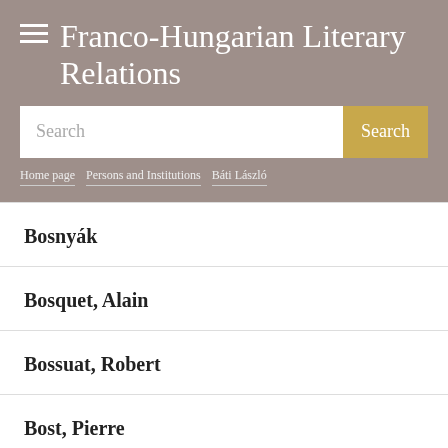Franco-Hungarian Literary Relations
Home page > Persons and Institutions > Báti László
Bosnyák
Bosquet, Alain
Bossuat, Robert
Bost, Pierre